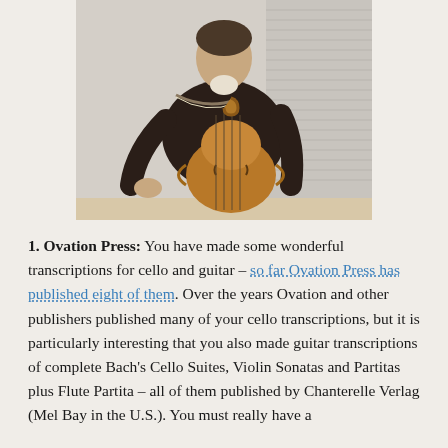[Figure (photo): A man playing a large cello or double bass instrument, wearing a dark sweater, seated against a light wall background.]
1. Ovation Press: You have made some wonderful transcriptions for cello and guitar – so far Ovation Press has published eight of them. Over the years Ovation and other publishers published many of your cello transcriptions, but it is particularly interesting that you also made guitar transcriptions of complete Bach's Cello Suites, Violin Sonatas and Partitas plus Flute Partita – all of them published by Chanterelle Verlag (Mel Bay in the U.S.). You must really have a